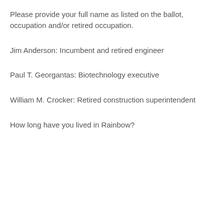Please provide your full name as listed on the ballot, occupation and/or retired occupation.
Jim Anderson: Incumbent and retired engineer
Paul T. Georgantas: Biotechnology executive
William M. Crocker: Retired construction superintendent
How long have you lived in Rainbow?